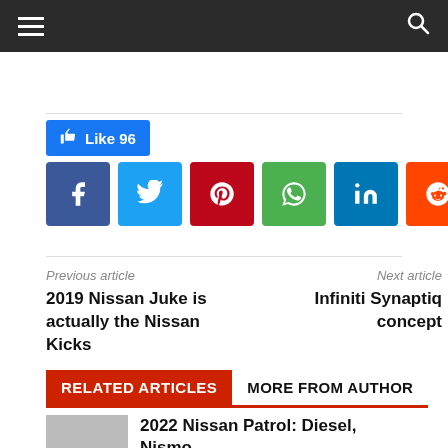Navigation bar with hamburger menu and search icon
[Figure (infographic): Social sharing buttons: Like 96 (Facebook like button), Facebook, Twitter, Pinterest, WhatsApp, LinkedIn, Reddit, Digg]
Previous article
Next article
2019 Nissan Juke is actually the Nissan Kicks
Infiniti Synaptiq concept
RELATED ARTICLES   MORE FROM AUTHOR
2022 Nissan Patrol: Diesel, Nismo